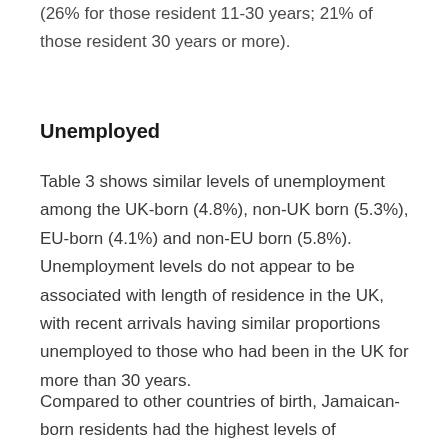(26% for those resident 11-30 years; 21% of those resident 30 years or more).
Unemployed
Table 3 shows similar levels of unemployment among the UK-born (4.8%), non-UK born (5.3%), EU-born (4.1%) and non-EU born (5.8%). Unemployment levels do not appear to be associated with length of residence in the UK, with recent arrivals having similar proportions unemployed to those who had been in the UK for more than 30 years.
Compared to other countries of birth, Jamaican-born residents had the highest levels of unemployment